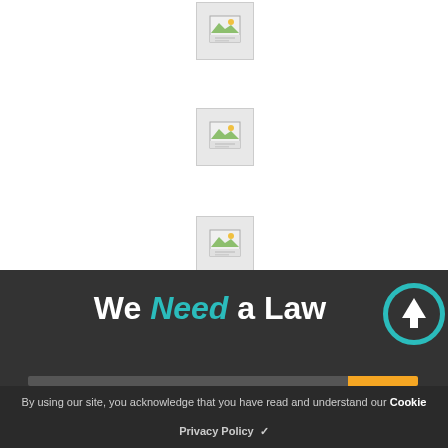[Figure (illustration): Broken image placeholder icon 1 - document with landscape image thumbnail]
[Figure (illustration): Broken image placeholder icon 2 - document with landscape image thumbnail]
[Figure (illustration): Broken image placeholder icon 3 - document with landscape image thumbnail]
We Need a Law
By using our site, you acknowledge that you have read and understand our Cookie
Privacy Policy  ✓